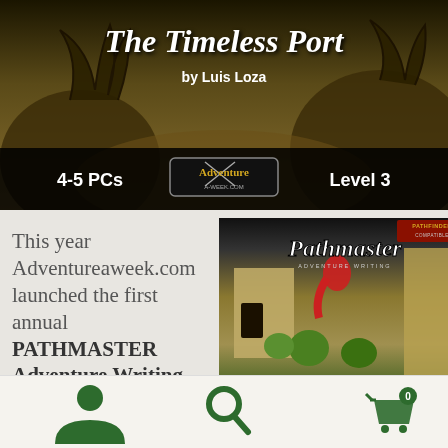[Figure (illustration): Cover art for 'The Timeless Port' adventure by Luis Loza. Dark fantasy art with golden/brown tones showing creatures. Text overlay: '4-5 PCs', Adventure a Week logo, 'Level 3'. Title in ornate script at top.]
This year Adventureaweek.com launched the first annual PATHMASTER Adventure Writing Contest™
[Figure (illustration): Cover art for Pathmaster adventure writing contest. Shows fantasy battle scene with armored figures on wall, red-cloaked figure, and green creatures below. Pathfinder compatible badge in upper right. Title 'Pathmaster' in ornate script.]
[Figure (infographic): Bottom navigation bar with three icons: user/person icon (left), search/magnifying glass icon (center), shopping cart with '0' badge (right). All icons in dark green color on light background.]